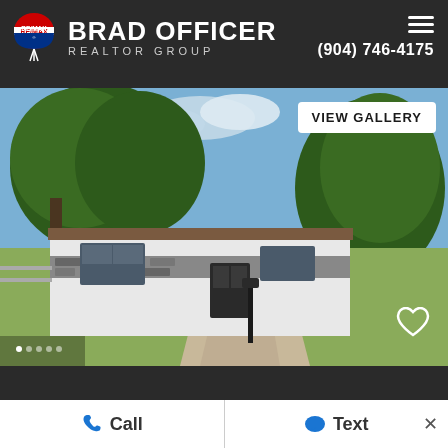[Figure (logo): RE/MAX logo with Brad Officer Realtor Group branding and phone number (904) 746-4175 on dark background header]
[Figure (photo): Exterior photo of a single-story ranch-style house with white walls, stone accents, brown roof, large tree in front yard, driveway, with VIEW GALLERY button overlay and heart icon]
4675 S...
Call
Text